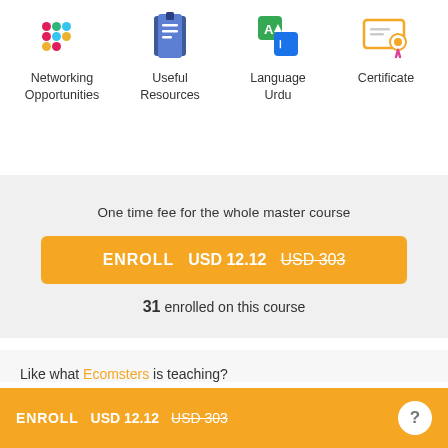[Figure (illustration): Slack-style icon for Networking Opportunities]
Networking Opportunities
[Figure (illustration): Notebook icon for Useful Resources]
Useful Resources
[Figure (illustration): Translation/language icon for Language Urdu]
Language Urdu
[Figure (illustration): Certificate icon for Certificate]
Certificate
One time fee for the whole master course
ENROLL  USD 12.12  USD 303
31 enrolled on this course
Like what Ecomsters is teaching?
ENROLL  USD 12.12  USD 303